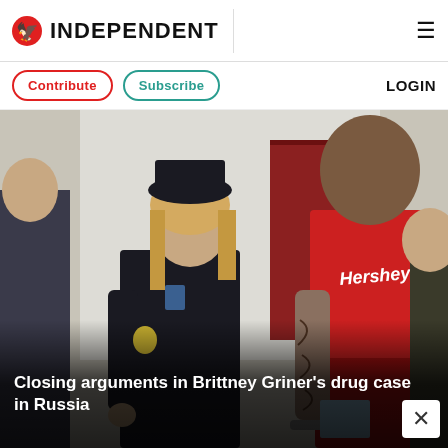INDEPENDENT
Contribute  Subscribe  LOGIN
[Figure (photo): A Russian police officer in black uniform escorts a tattooed person wearing a red Hershey t-shirt and red sweatpants in handcuffs through what appears to be a courthouse. Another officer is visible on the right.]
Closing arguments in Brittney Griner's drug case in Russia